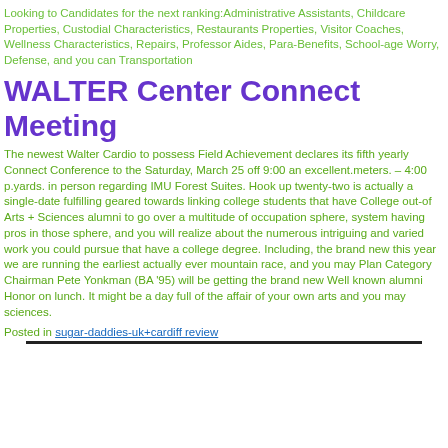Looking to Candidates for the next ranking:Administrative Assistants, Childcare Properties, Custodial Characteristics, Restaurants Properties, Visitor Coaches, Wellness Characteristics, Repairs, Professor Aides, Para-Benefits, School-age Worry, Defense, and you can Transportation
WALTER Center Connect Meeting
The newest Walter Cardio to possess Field Achievement declares its fifth yearly Connect Conference to the Saturday, March 25 off 9:00 an excellent.meters. – 4:00 p.yards. in person regarding IMU Forest Suites. Hook up twenty-two is actually a single-date fulfilling geared towards linking college students that have College out-of Arts + Sciences alumni to go over a multitude of occupation sphere, system having pros in those sphere, and you will realize about the numerous intriguing and varied work you could pursue that have a college degree. Including, the brand new this year we are running the earliest actually ever mountain race, and you may Plan Category Chairman Pete Yonkman (BA '95) will be getting the brand new Well known alumni Honor on lunch. It might be a day full of the affair of your own arts and you may sciences.
Posted in sugar-daddies-uk+cardiff review